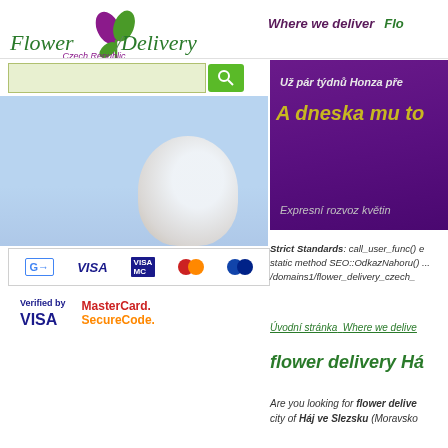[Figure (logo): Flower Delivery Czech Republic logo with stylized flower/leaf icon in purple and green]
Where we deliver   Flo...
[Figure (screenshot): Search bar with light green input field and green search button with magnifying glass icon]
[Figure (photo): Blue sky background with a white flower in lower right]
[Figure (infographic): Payment icons bar: Google Pay, VISA, Visa MasterCard, MasterCard circles, blue card circles]
[Figure (logo): Verified by VISA and MasterCard SecureCode trust logos]
[Figure (infographic): Purple promotional banner with Czech text: Uz par tydnu Honza pre... / A dneska mu to / Expresni rozvoz kvetin]
Strict Standards: call_user_func() e... static method SEO::OdkazNahoru() ... /domains1/flower_delivery_czech_...
Úvodní stránka   Where we delive...
flower delivery Há...
Are you looking for flower delive... city of Háj ve Slezsku (Moravsko...